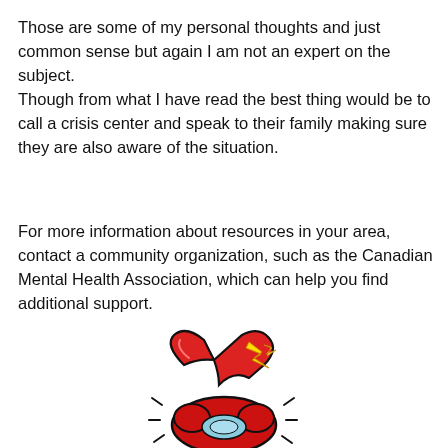Those are some of my personal thoughts and just common sense but again I am not an expert on the subject.
Though from what I have read the best thing would be to call a crisis center and speak to their family making sure they are also aware of the situation.
For more information about resources in your area, contact a community organization, such as the Canadian Mental Health Association, which can help you find additional support.
[Figure (illustration): Cartoon illustration of a red ringing telephone with motion lines and a yellow spark/flash, suggesting urgency or a crisis call.]